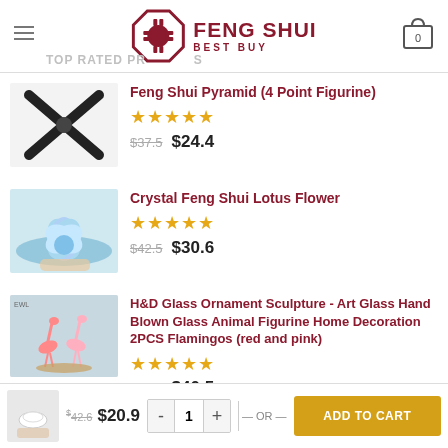FENG SHUI BEST BUY — TOP RATED PRODUCTS
[Figure (photo): Feng Shui pyramid 4-point figurine product image]
Feng Shui Pyramid (4 Point Figurine) — ★★★★★ — $37.5  $24.4
[Figure (photo): Crystal Feng Shui Lotus Flower product image]
Crystal Feng Shui Lotus Flower — ★★★★★ — $42.5  $30.6
[Figure (photo): H&D Glass Ornament Sculpture flamingos product image]
H&D Glass Ornament Sculpture - Art Glass Hand Blown Glass Animal Figurine Home Decoration 2PCS Flamingos (red and pink) — ★★★★★ — $45.9  $40.5
$42.6  $20.9  — 1 — OR — ADD TO CART